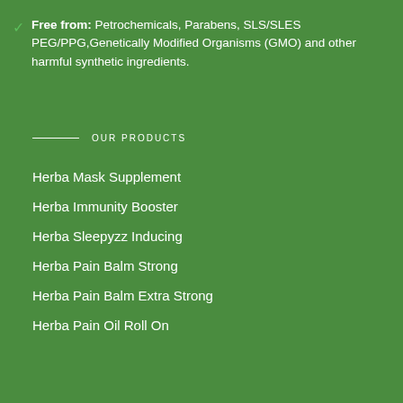Free from: Petrochemicals, Parabens, SLS/SLES PEG/PPG,Genetically Modified Organisms (GMO) and other harmful synthetic ingredients.
OUR PRODUCTS
Herba Mask Supplement
Herba Immunity Booster
Herba Sleepyzz Inducing
Herba Pain Balm Strong
Herba Pain Balm Extra Strong
Herba Pain Oil Roll On